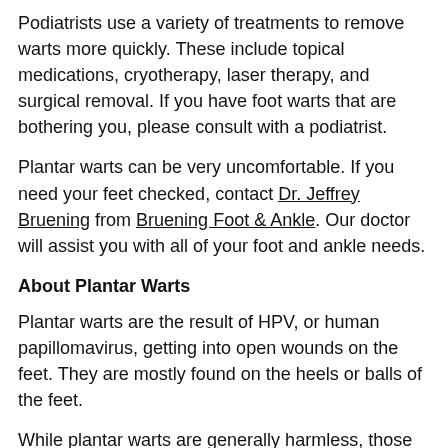Podiatrists use a variety of treatments to remove warts more quickly. These include topical medications, cryotherapy, laser therapy, and surgical removal. If you have foot warts that are bothering you, please consult with a podiatrist.
Plantar warts can be very uncomfortable. If you need your feet checked, contact Dr. Jeffrey Bruening from Bruening Foot & Ankle. Our doctor will assist you with all of your foot and ankle needs.
About Plantar Warts
Plantar warts are the result of HPV, or human papillomavirus, getting into open wounds on the feet. They are mostly found on the heels or balls of the feet.
While plantar warts are generally harmless, those experiencing excessive pain or those suffering from diabetes or a compromised immune system require immediate medical care. Plantar warts are easily diagnosed, usually through scraping off a bit of rough skin or by getting a biopsy.